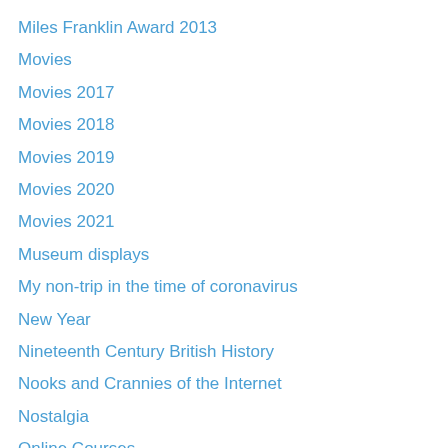Miles Franklin Award 2013
Movies
Movies 2017
Movies 2018
Movies 2019
Movies 2020
Movies 2021
Museum displays
My non-trip in the time of coronavirus
New Year
Nineteenth Century British History
Nooks and Crannies of the Internet
Nostalgia
Online Courses
Oral history
Peace
Pleasant Sunday Afternoon Outings
Podcasts
Podcasts 2019
Podcasts 2020